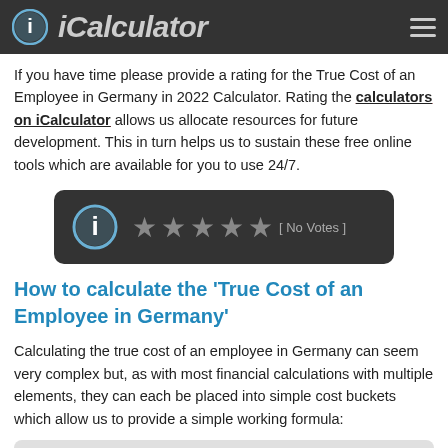iCalculator
If you have time please provide a rating for the True Cost of an Employee in Germany in 2022 Calculator. Rating the calculators on iCalculator allows us allocate resources for future development. This in turn helps us to sustain these free online tools which are available for you to use 24/7.
[Figure (other): Rating widget with info icon and 5 empty grey stars with '[No Votes]' label on dark background]
How to calculate the 'True Cost of an Employee in Germany'
Calculating the true cost of an employee in Germany can seem very complex but, as with most financial calculations with multiple elements, they can each be placed into simple cost buckets which allow us to provide a simple working formula: